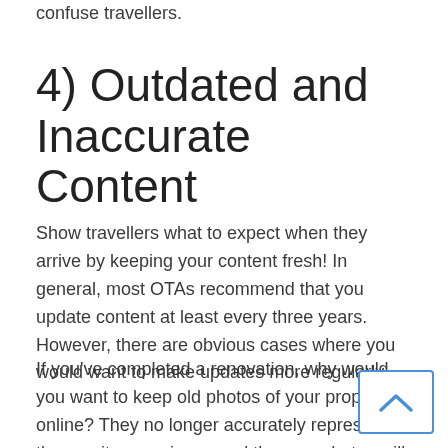confuse travellers.
4) Outdated and Inaccurate Content
Show travellers what to expect when they arrive by keeping your content fresh! In general, most OTAs recommend that you update content at least every three years. However, there are obvious cases where you would want to make updates more regularly.
If you've completed a renovation, why would you want to keep old photos of your property online? They no longer accurately represent the on-site experience and the new photos will certainly do a better job of selling your hotel to travel shoppers. So get rid of those